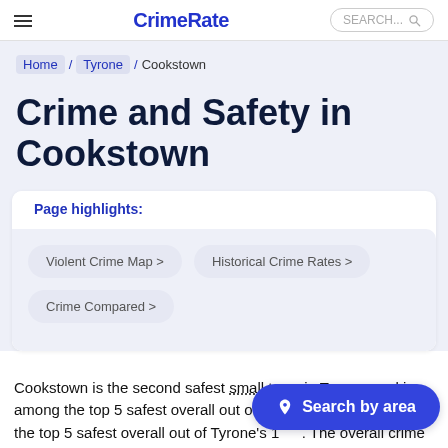CrimeRate
Home / Tyrone / Cookstown
Crime and Safety in Cookstown
Page highlights:
Violent Crime Map >
Historical Crime Rates >
Crime Compared >
Cookstown is the second safest small town in Tyrone, and is among the top 5 safest overall out of Tyrone's 1[...]. The overall crime rate in Cookstown in 2[...] 1,000 people. This compares favourably to Tyrone's overall crime